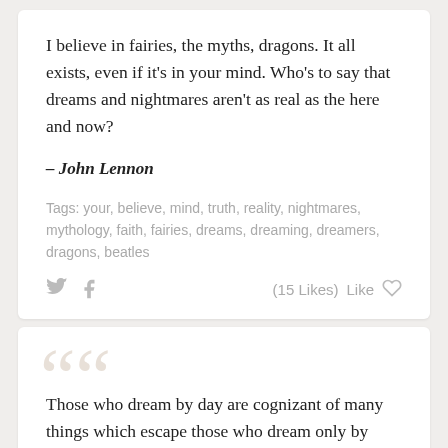I believe in fairies, the myths, dragons. It all exists, even if it's in your mind. Who's to say that dreams and nightmares aren't as real as the here and now?
– John Lennon
Tags: your, believe, mind, truth, reality, nightmares, mythology, faith, fairies, dreams, dreaming, dreamers, dragons, beatles
(15 Likes)  Like
Those who dream by day are cognizant of many things which escape those who dream only by night.